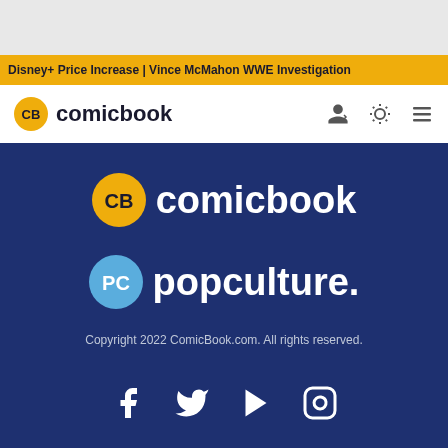Disney+ Price Increase | Vince McMahon WWE Investigation
[Figure (logo): ComicBook.com navigation logo with CB badge and comicbook text]
[Figure (logo): ComicBook.com large CB badge with comicbook text on dark blue background]
[Figure (logo): Popculture.com large PC badge with popculture. text on dark blue background]
Copyright 2022 ComicBook.com. All rights reserved.
[Figure (infographic): Social media icons: Facebook, Twitter, YouTube, Instagram]